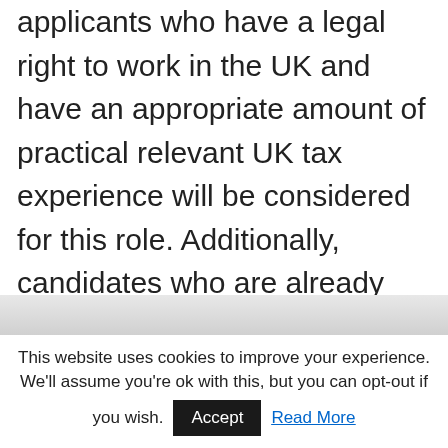applicants who have a legal right to work in the UK and have an appropriate amount of practical relevant UK tax experience will be considered for this role. Additionally, candidates who are already registered with us will be automatically considered for this Leeds tax job and any other West Yorkshire based tax job.
This website uses cookies to improve your experience. We'll assume you're ok with this, but you can opt-out if you wish. Accept Read More